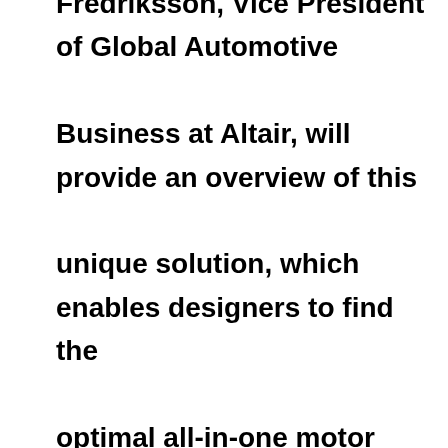Fredriksson, Vice President of Global Automotive Business at Altair, will provide an overview of this unique solution, which enables designers to find the optimal all-in-one motor platform across various motor configurations, enabled by a model database and fully automated combinatorics. He will also explain how Altair eMotor Director's advanced user interface leverages Altair HyperStudy to perform optimizations at large scale.